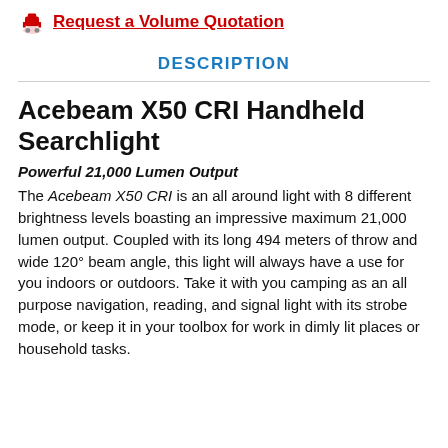Request a Volume Quotation
DESCRIPTION
Acebeam X50 CRI Handheld Searchlight
Powerful 21,000 Lumen Output
The Acebeam X50 CRI is an all around light with 8 different brightness levels boasting an impressive maximum 21,000 lumen output. Coupled with its long 494 meters of throw and wide 120° beam angle, this light will always have a use for you indoors or outdoors. Take it with you camping as an all purpose navigation, reading, and signal light with its strobe mode, or keep it in your toolbox for work in dimly lit places or household tasks.